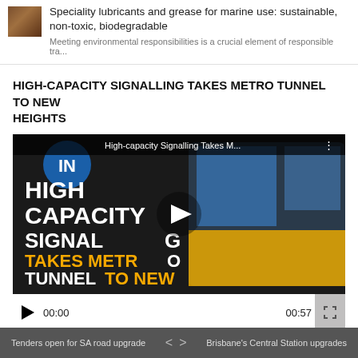[Figure (photo): Small thumbnail image of marine-related content, brownish tones]
Speciality lubricants and grease for marine use: sustainable, non-toxic, biodegradable
Meeting environmental responsibilities is a crucial element of responsible tra...
HIGH-CAPACITY SIGNALLING TAKES METRO TUNNEL TO NEW HEIGHTS
[Figure (screenshot): Video thumbnail showing a metro train with overlay text: HIGH CAPACITY SIGNALLING TAKES METRO TUNNEL TO NEW HEIGHTS in white and yellow bold text. Video title bar shows 'High-capacity Signalling Takes M...' A play button is visible in the center. Video controls show play button, timestamp 00:00 on left and 00:57 on right, and a fullscreen button.]
Tenders open for SA road upgrade   <   >   Brisbane's Central Station upgrades